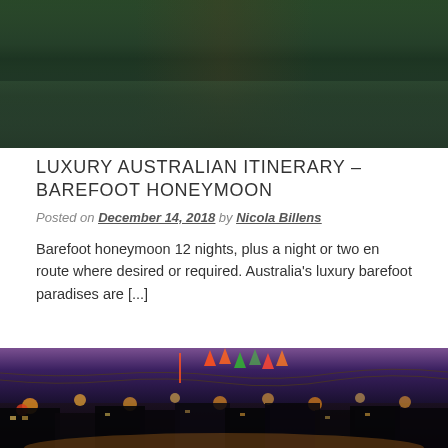[Figure (photo): Outdoor nature scene with trees reflected in water, shot at dusk with warm golden and green tones]
LUXURY AUSTRALIAN ITINERARY – BAREFOOT HONEYMOON
Posted on December 14, 2018 by Nicola Billens
Barefoot honeymoon 12 nights, plus a night or two en route where desired or required. Australia's luxury barefoot paradises are [...]
[Figure (photo): Night street scene with colorful string lights, lanterns, and triangular bunting flags in a festive outdoor market or festival setting]